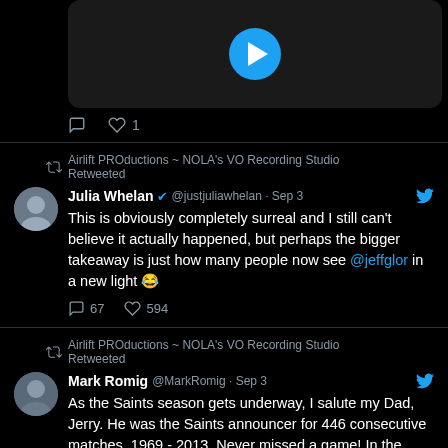[Figure (screenshot): Twitter/social media feed screenshot showing tweets on dark background]
1 like on first tweet
Airlift PROductions ~ NOLA's VO Recording Studio Retweeted
Julia Whelan @justjuliawhelan · Sep 3
This is obviously completely surreal and I still can't believe it actually happened, but perhaps the bigger takeaway is just how many people now see @jeffglor in a new light 😂
67 comments, 594 likes
Airlift PROductions ~ NOLA's VO Recording Studio Retweeted
Mark Romig @MarkRomig · Sep 3
As the Saints season gets underway, I salute my Dad, Jerry. He was the Saints announcer for 446 consecutive matches. 1969 - 2013. Never missed a game! In the photo, Mom (Janice) and my